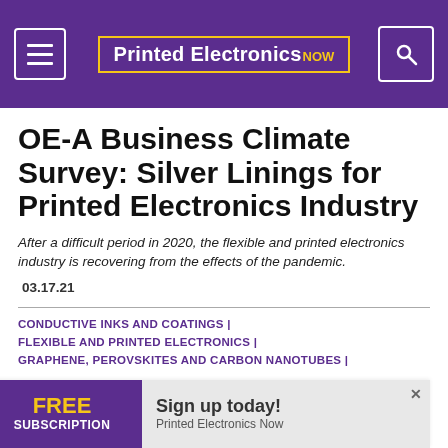Printed Electronics NOW
OE-A Business Climate Survey: Silver Linings for Printed Electronics Industry
After a difficult period in 2020, the flexible and printed electronics industry is recovering from the effects of the pandemic.
03.17.21
CONDUCTIVE INKS AND COATINGS |
FLEXIBLE AND PRINTED ELECTRONICS |
GRAPHENE, PEROVSKITES AND CARBON NANOTUBES |
[Figure (infographic): Advertisement banner: FREE SUBSCRIPTION - Sign up today! Printed Electronics Now]